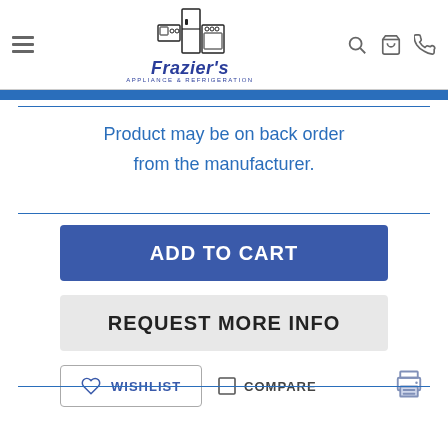Frazier's Appliance & Refrigeration
Product may be on back order from the manufacturer.
ADD TO CART
REQUEST MORE INFO
WISHLIST
COMPARE